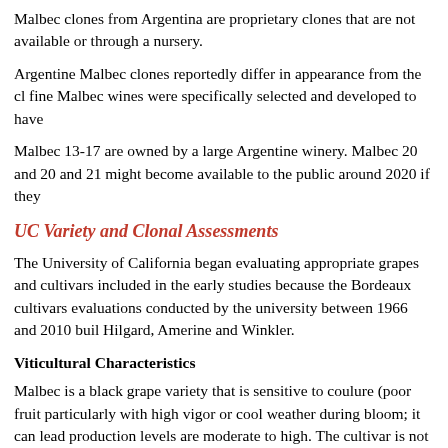Malbec clones from Argentina are proprietary clones that are not available or through a nursery.
Argentine Malbec clones reportedly differ in appearance from the cl fine Malbec wines were specifically selected and developed to have
Malbec 13-17 are owned by a large Argentine winery. Malbec 20 and 20 and 21 might become available to the public around 2020 if they
UC Variety and Clonal Assessments
The University of California began evaluating appropriate grapes and cultivars included in the early studies because the Bordeaux cultivars evaluations conducted by the university between 1966 and 2010 buil Hilgard, Amerine and Winkler.
Viticultural Characteristics
Malbec is a black grape variety that is sensitive to coulure (poor fru particularly with high vigor or cool weather during bloom; it can lea production levels are moderate to high. The cultivar is not always ea grown in favorable conditions, Malbec is a vigorous variety adaptab unusually strong lateral shoot growth leading to a dense canopy in th
Ough and Alley, 1966